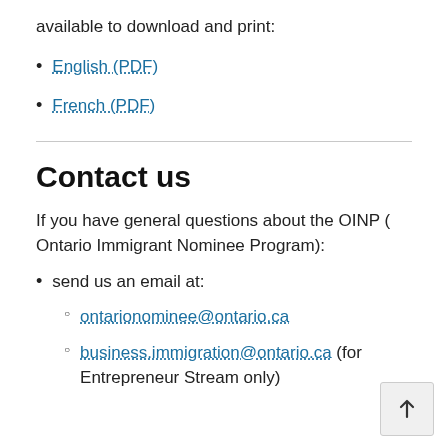available to download and print:
English (PDF)
French (PDF)
Contact us
If you have general questions about the OINP ( Ontario Immigrant Nominee Program):
send us an email at:
ontarionominee@ontario.ca
business.immigration@ontario.ca (for Entrepreneur Stream only)